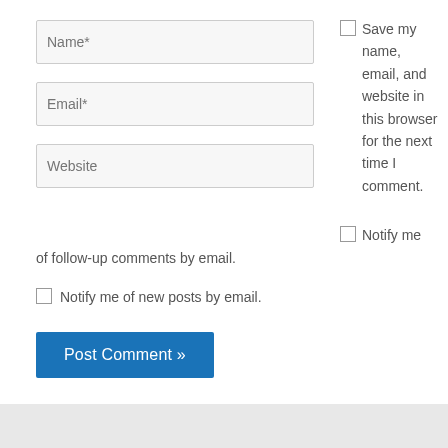Name*
Email*
Website
Save my name, email, and website in this browser for the next time I comment.
Notify me of follow-up comments by email.
Notify me of new posts by email.
Post Comment »